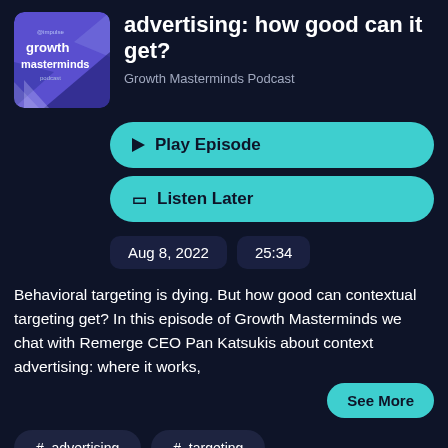[Figure (logo): Growth Masterminds Podcast logo — purple/blue background with geometric shapes and text 'growth masterminds podcast']
advertising: how good can it get?
Growth Masterminds Podcast
▶ Play Episode
🔖 Listen Later
Aug 8, 2022
25:34
Behavioral targeting is dying. But how good can contextual targeting get? In this episode of Growth Masterminds we chat with Remerge CEO Pan Katsukis about context advertising: where it works,
See More
# advertising
# targeting